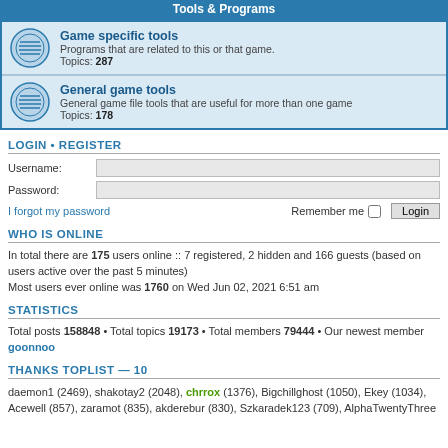Tools & Programs
Game specific tools
Programs that are related to this or that game.
Topics: 287
General game tools
General game file tools that are useful for more than one game
Topics: 178
LOGIN • REGISTER
Username:
Password:
I forgot my password
Remember me  [checkbox]  Login
WHO IS ONLINE
In total there are 175 users online :: 7 registered, 2 hidden and 166 guests (based on users active over the past 5 minutes)
Most users ever online was 1760 on Wed Jun 02, 2021 6:51 am
STATISTICS
Total posts 158848 • Total topics 19173 • Total members 79444 • Our newest member goonnoo
THANKS TOPLIST — 10
daemon1 (2469), shakotay2 (2048), chrrox (1376), Bigchillghost (1050), Ekey (1034), Acewell (857), zaramot (835), akderebur (830), Szkaradek123 (709), AlphaTwentyThree (??),